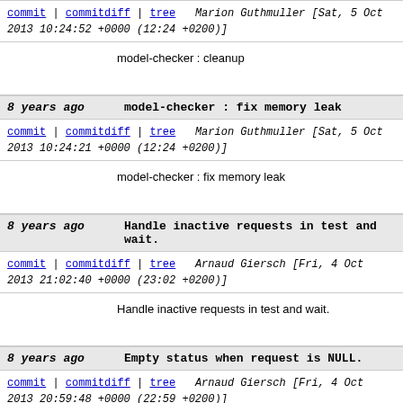commit | commitdiff | tree   Marion Guthmuller [Sat, 5 Oct 2013 10:24:52 +0000 (12:24 +0200)]
model-checker : cleanup
8 years ago   model-checker : fix memory leak
commit | commitdiff | tree   Marion Guthmuller [Sat, 5 Oct 2013 10:24:21 +0000 (12:24 +0200)]
model-checker : fix memory leak
8 years ago   Handle inactive requests in test and wait.
commit | commitdiff | tree   Arnaud Giersch [Fri, 4 Oct 2013 21:02:40 +0000 (23:02 +0200)]
Handle inactive requests in test and wait.
8 years ago   Empty status when request is NULL.
commit | commitdiff | tree   Arnaud Giersch [Fri, 4 Oct 2013 20:59:48 +0000 (22:59 +0200)]
Empty status when request is NULL.
8 years ago   Reset requests to MPI_REQUEST_NULL